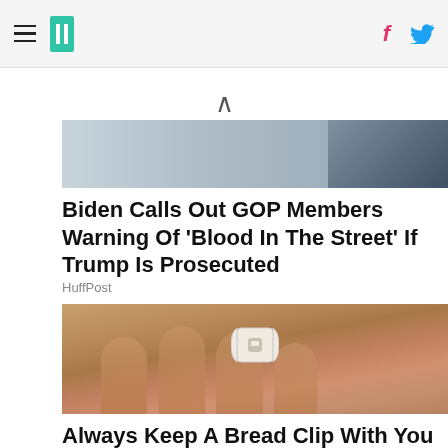HuffPost navigation bar with hamburger menu, logo, Facebook and Twitter icons
[Figure (photo): Partial view of a news article image, partially visible at top, showing sky and building]
Biden Calls Out GOP Members Warning Of 'Blood In The Street' If Trump Is Prosecuted
HuffPost
[Figure (photo): A hand holding a small white bread clip/tag in the palm]
Always Keep A Bread Clip With You When Traveling